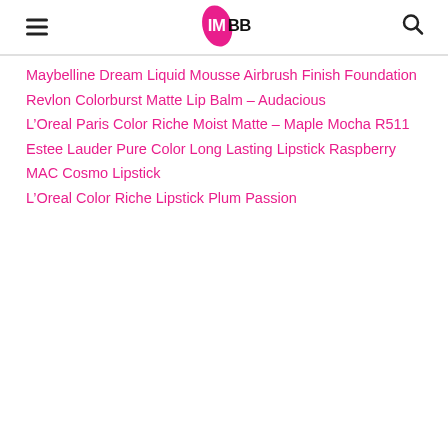IMBB logo with hamburger menu and search icon
Maybelline Dream Liquid Mousse Airbrush Finish Foundation
Revlon Colorburst Matte Lip Balm – Audacious
L'Oreal Paris Color Riche Moist Matte – Maple Mocha R511
Estee Lauder Pure Color Long Lasting Lipstick Raspberry
MAC Cosmo Lipstick
L'Oreal Color Riche Lipstick Plum Passion